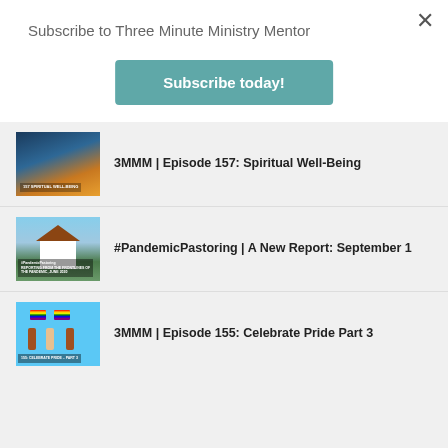Subscribe to Three Minute Ministry Mentor
Subscribe today!
3MMM | Episode 157: Spiritual Well-Being
#PandemicPastoring | A New Report: September 1
3MMM | Episode 155: Celebrate Pride Part 3